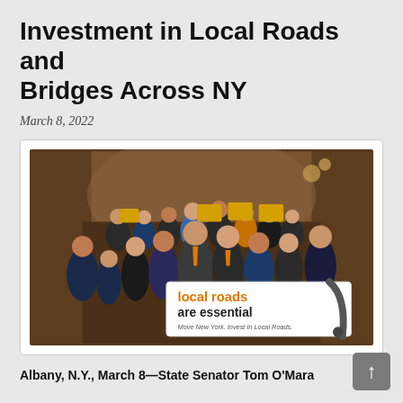Investment in Local Roads and Bridges Across NY
March 8, 2022
[Figure (photo): Group of legislators and officials posing together in a grand hall, holding a banner that reads 'local roads are essential? Move New York. Invest In Local Roads.' and signs with similar messaging.]
Albany, N.Y., March 8—State Senator Tom O'Mara